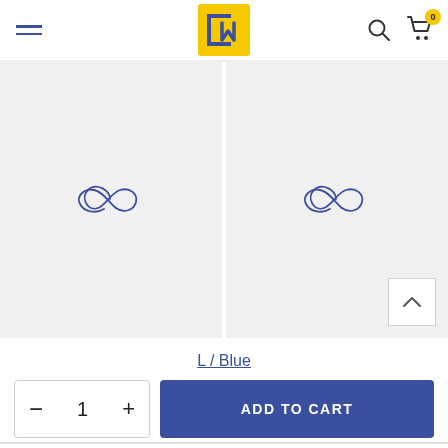[Figure (logo): CM logo — yellow square with dark blue CM letters]
[Figure (photo): Product image panel 1 — light gray background with dark blue infinity/loop symbol watermark]
[Figure (photo): Product image panel 2 — light gray background with dark blue infinity/loop symbol watermark, scroll-up button bottom right]
L / Blue
ADD TO CART
[Figure (screenshot): Bottom navigation bar with grid, heart (0 badge), cart (0 badge), profile, search icons]